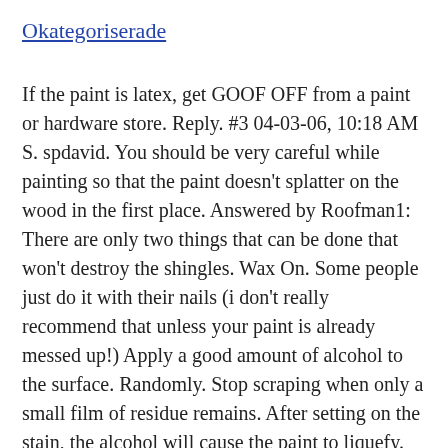Okategoriserade
If the paint is latex, get GOOF OFF from a paint or hardware store. Reply. #3 04-03-06, 10:18 AM S. spdavid. You should be very careful while painting so that the paint doesn't splatter on the wood in the first place. Answered by Roofman1: There are only two things that can be done that won't destroy the shingles. Wax On. Some people just do it with their nails (i don't really recommend that unless your paint is already messed up!) Apply a good amount of alcohol to the surface. Randomly. Stop scraping when only a small film of residue remains. After setting on the stain, the alcohol will cause the paint to liquefy. First you will want to spray you latex based paint remover and let that sit for 2-5 minutes. Spray directly down onto the shingle and